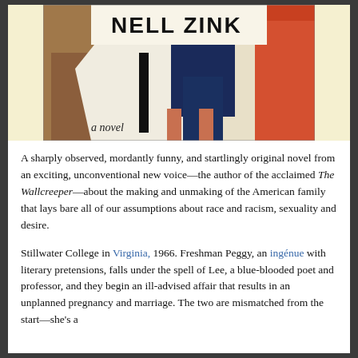[Figure (illustration): Book cover of a novel by Nell Zink, showing figures in colorful clothing against a collage background, with handwritten text 'a novel' at the bottom left.]
A sharply observed, mordantly funny, and startlingly original novel from an exciting, unconventional new voice—the author of the acclaimed The Wallcreeper—about the making and unmaking of the American family that lays bare all of our assumptions about race and racism, sexuality and desire.
Stillwater College in Virginia, 1966. Freshman Peggy, an ingénue with literary pretensions, falls under the spell of Lee, a blue-blooded poet and professor, and they begin an ill-advised affair that results in an unplanned pregnancy and marriage. The two are mismatched from the start—she's a